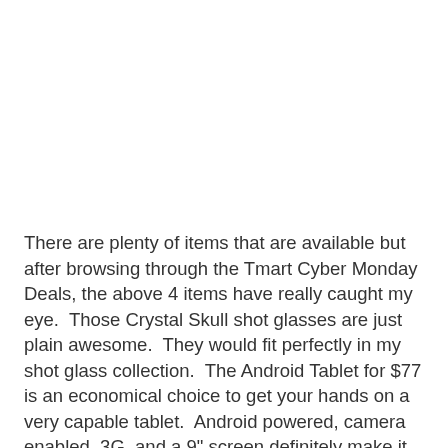There are plenty of items that are available but after browsing through the Tmart Cyber Monday Deals, the above 4 items have really caught my eye.  Those Crystal Skull shot glasses are just plain awesome.  They would fit perfectly in my shot glass collection.  The Android Tablet for $77 is an economical choice to get your hands on a very capable tablet.  Android powered, camera enabled, 3G, and a 9" screen definitely make it worth a look!  The headset that I added is another option for those of us that don't have the money to shell out for one of the more expensive headsets.  This great headset will provide you with all that you need to get you into the game and interacting with Xbox Live.